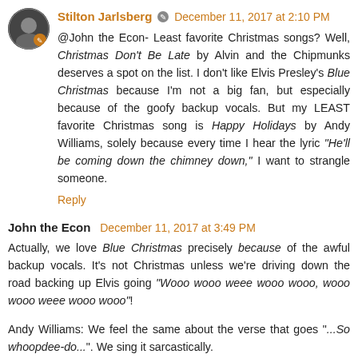Stilton Jarlsberg · December 11, 2017 at 2:10 PM
@John the Econ- Least favorite Christmas songs? Well, Christmas Don't Be Late by Alvin and the Chipmunks deserves a spot on the list. I don't like Elvis Presley's Blue Christmas because I'm not a big fan, but especially because of the goofy backup vocals. But my LEAST favorite Christmas song is Happy Holidays by Andy Williams, solely because every time I hear the lyric "He'll be coming down the chimney down," I want to strangle someone.
Reply
John the Econ  December 11, 2017 at 3:49 PM
Actually, we love Blue Christmas precisely because of the awful backup vocals. It's not Christmas unless we're driving down the road backing up Elvis going "Wooo wooo weee wooo wooo, wooo wooo weee wooo wooo"!
Andy Williams: We feel the same about the verse that goes "...So whoopdee-do...". We sing it sarcastically.